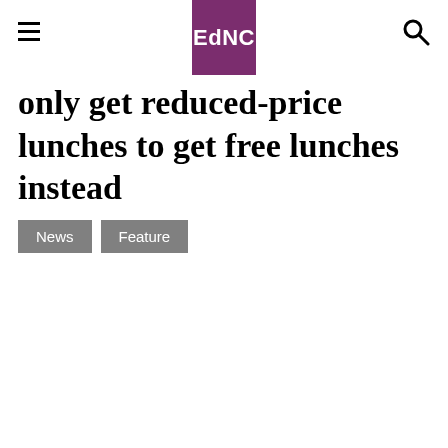EdNC
only get reduced-price lunches to get free lunches instead
News
Feature